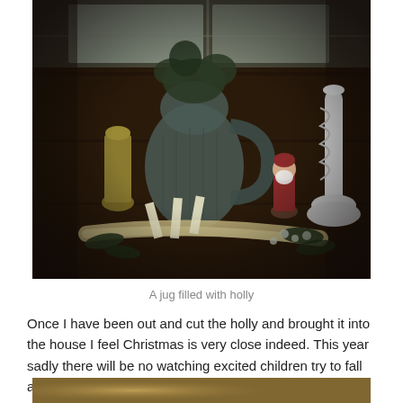[Figure (photo): A dark indoor photo of a wooden table/surface with a knitted jug filled with holly/pine, a small yellow vase, a Santa Claus figurine, a white spiral candle holder, and a bundled arrangement of flowers/greenery lying flat on the table. A window is visible in the background.]
A jug filled with holly
Once I have been out and cut the holly and brought it into the house I feel Christmas is very close indeed.  This year sadly there will be no watching excited children try to fall asleep whilst holding on to the rising excitement of Santa arriving.
[Figure (photo): Partial view of a warm-toned photo at the bottom of the page, cropped.]